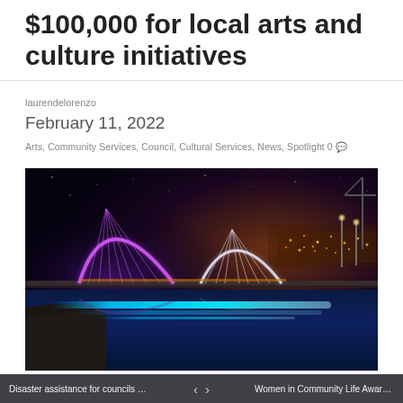$100,000 for local arts and culture initiatives
laurendelorenzo
February 11, 2022
Arts, Community Services, Council, Cultural Services, News, Spotlight 0
[Figure (photo): Night photograph of an illuminated arch bridge with purple and white lighting reflected on blue-lit water, city lights in the background]
Disaster assistance for councils affected...    <  >    Women in Community Life Award finalist...